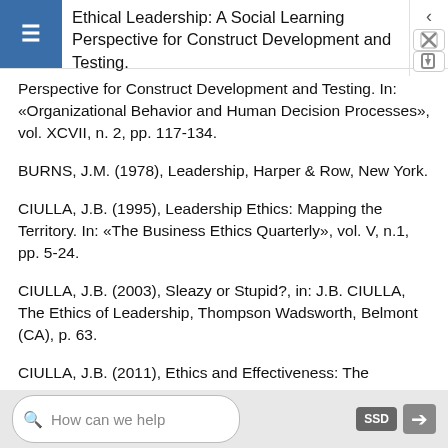Ethical Leadership: A Social Learning Perspective for Construct Development and Testing.
Perspective for Construct Development and Testing. In: «Organizational Behavior and Human Decision Processes», vol. XCVII, n. 2, pp. 117-134.
BURNS, J.M. (1978), Leadership, Harper & Row, New York.
CIULLA, J.B. (1995), Leadership Ethics: Mapping the Territory. In: «The Business Ethics Quarterly», vol. V, n.1, pp. 5-24.
CIULLA, J.B. (2003), Sleazy or Stupid?, in: J.B. CIULLA, The Ethics of Leadership, Thompson Wadsworth, Belmont (CA), p. 63.
CIULLA, J.B. (2011), Ethics and Effectiveness: The
How can we help